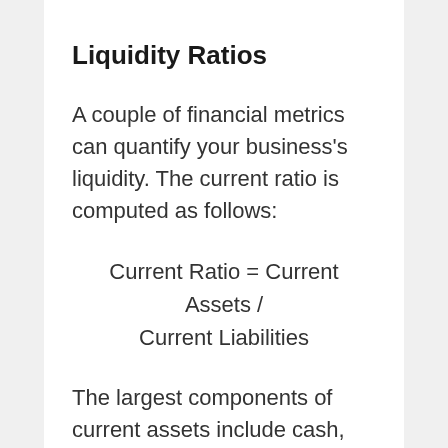Liquidity Ratios
A couple of financial metrics can quantify your business’s liquidity. The current ratio is computed as follows:
The largest components of current assets include cash, cash